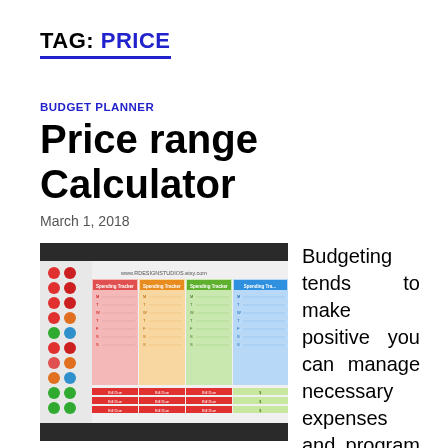TAG: PRICE
BUDGET PLANNER
Price range Calculator
March 1, 2018
[Figure (photo): Photo of a colorful budget planner / spending tracker spreadsheet with red, orange, green, and blue columns labeled Spending Tracker, with row labels M, T, W, T, F, S, S and bill due sections.]
Budgeting tends to make positive you can manage necessary expenses and program for items you would like. For